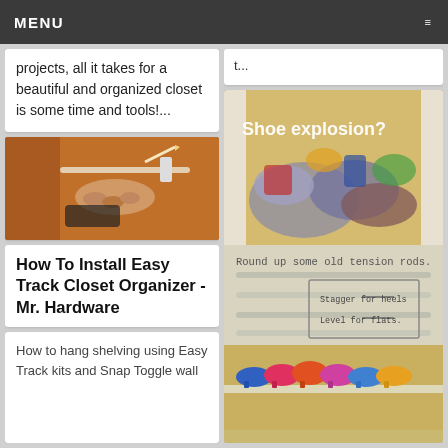MENU
projects, all it takes for a beautiful and organized closet is some time and tools!...
[Figure (photo): Hands installing a closet organizer track against an orange/brown wall]
How To Install Easy Track Closet Organizer - Mr. Hardware
How to hang shelving using Easy Track kits and Snap Toggle wall
t...
[Figure (photo): Shoe explosion infographic showing a closet full of shoes and instructions to use tension rods. Text reads: 'Shoe explosion?', 'Round up some old tension rods.', 'Stagger for heels', 'Level for flats.']